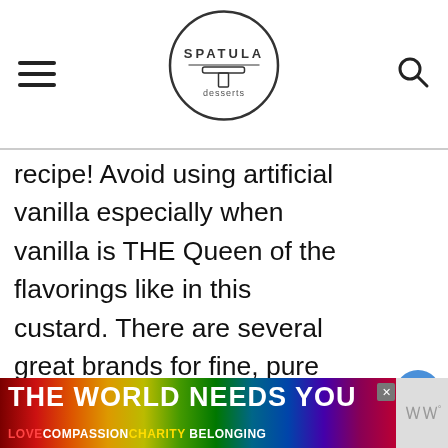Spatula Desserts
recipe! Avoid using artificial vanilla especially when vanilla is THE Queen of the flavorings like in this custard. There are several great brands for fine, pure vanilla, I use Nielsen massey which I love and really recommend
[Figure (infographic): Social sidebar with heart/like button showing 2.8K and a share button]
[Figure (infographic): What's Next widget showing thumbnail and text 'The Perfect Eclair recipe']
[Figure (infographic): Ad banner: THE WORLD NEEDS YOU with rainbow gradient background. LOVE COMPASSION CHARITY BELONGING text below.]